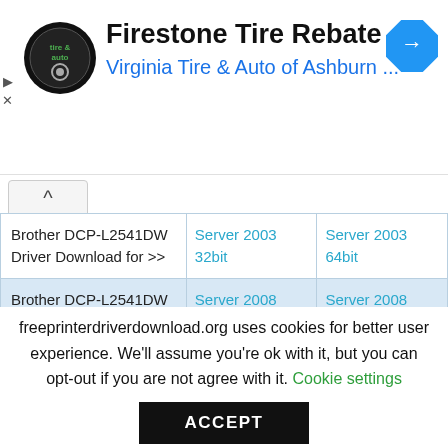[Figure (logo): Firestone Tire Rebate advertisement banner with Virginia Tire & Auto of Ashburn logo and navigation arrow icon]
| Brother DCP-L2541DW Driver Download for >> | Server 2003 32bit | Server 2003 64bit |
| Brother DCP-L2541DW Driver Download for >> | Server 2008 32bit | Server 2008 64bit |
freeprinterdriverdownload.org uses cookies for better user experience. We'll assume you're ok with it, but you can opt-out if you are not agree with it. Cookie settings
ACCEPT